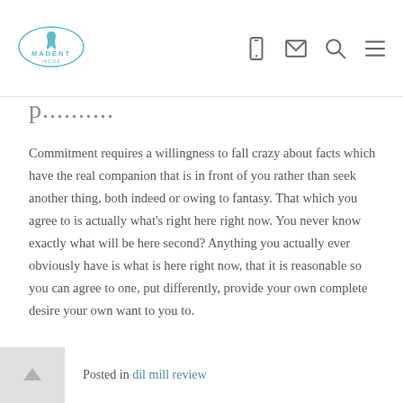Madent — navigation header with logo and icons
p...s...
Commitment requires a willingness to fall crazy about facts which have the real companion that is in front of you rather than seek another thing, both indeed or owing to fantasy. That which you agree to is actually what's right here right now. You never know exactly what will be here second? Anything you actually ever obviously have is what is here right now, that it is reasonable so you can agree to one, put differently, provide your own complete desire your own want to you to.
Posted in dil mill review